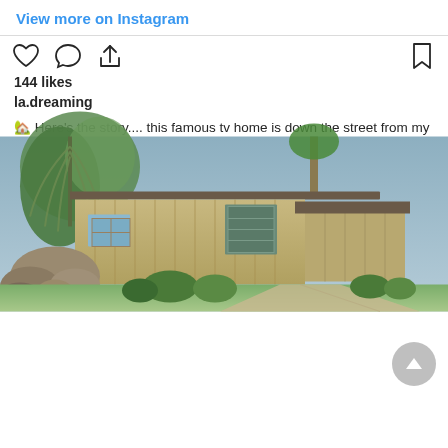[Figure (photo): Exterior photo of a mid-century ranch-style house with tan/beige siding, green landscaping, large rocks, and a concrete driveway under a blue-gray sky]
View more on Instagram
144 likes
la.dreaming
🏡 Here's the story.... this famous tv home is down the street from my favorite restaurant and I had no idea! I loved this show so much growing up and finally made it to see the house in person. Did anyone else watch the remodel on hgtv? I keep hoping they'll open up the house for fans to see. Currently, there is security but fans are welcome to stop by for photos. Just be prepared to wait for people to move out of the way #bradybunchhouse #bradybunch #thebradybunch #averyrenovation #hgtvhome #houseexteriors #homesofig #famoushomes #iconichomes